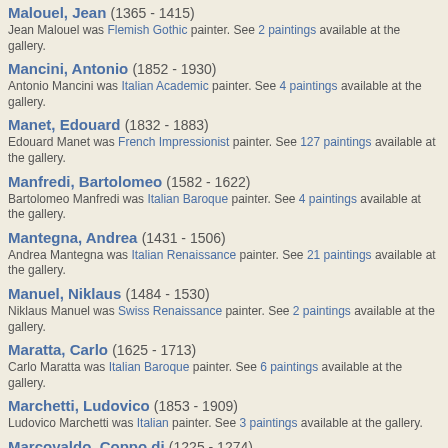Malouel, Jean (1365 - 1415)
Jean Malouel was Flemish Gothic painter. See 2 paintings available at the gallery.
Mancini, Antonio (1852 - 1930)
Antonio Mancini was Italian Academic painter. See 4 paintings available at the gallery.
Manet, Edouard (1832 - 1883)
Edouard Manet was French Impressionist painter. See 127 paintings available at the gallery.
Manfredi, Bartolomeo (1582 - 1622)
Bartolomeo Manfredi was Italian Baroque painter. See 4 paintings available at the gallery.
Mantegna, Andrea (1431 - 1506)
Andrea Mantegna was Italian Renaissance painter. See 21 paintings available at the gallery.
Manuel, Niklaus (1484 - 1530)
Niklaus Manuel was Swiss Renaissance painter. See 2 paintings available at the gallery.
Maratta, Carlo (1625 - 1713)
Carlo Maratta was Italian Baroque painter. See 6 paintings available at the gallery.
Marchetti, Ludovico (1853 - 1909)
Ludovico Marchetti was Italian painter. See 3 paintings available at the gallery.
Marcovaldo, Coppo di (1225 - 1274)
Coppo di Marcovaldo was Italian Byzantine painter. See 2 paintings available at the gallery.
Martini, Simone (1285 - 1344)
Simone Martini was Italian Gothic painter. See 67 paintings available at the gallery.
Masaccio, Tommaso di Giovanni di Simone Cassai (1401 - 1428)
Tommaso di Giovanni di Simone Cassai Masaccio was Italian Renaissance painter. See 20 pa...
Masolino da Panicale, Tommaso di Cristoforo Fini (1383 - 1447)